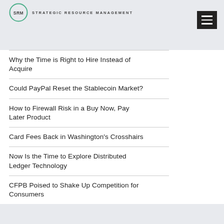SRM STRATEGIC RESOURCE MANAGEMENT
Why the Time is Right to Hire Instead of Acquire
Could PayPal Reset the Stablecoin Market?
How to Firewall Risk in a Buy Now, Pay Later Product
Card Fees Back in Washington's Crosshairs
Now Is the Time to Explore Distributed Ledger Technology
CFPB Poised to Shake Up Competition for Consumers